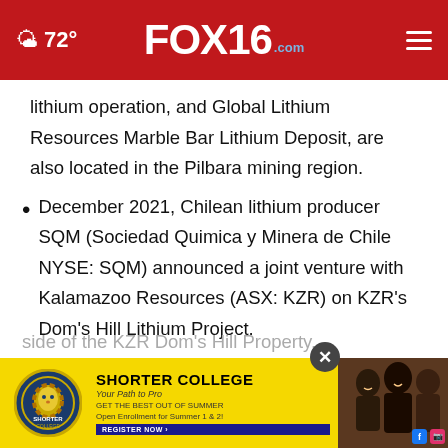72° FOX16.com
lithium operation, and Global Lithium Resources Marble Bar Lithium Deposit, are also located in the Pilbara mining region.
December 2021, Chilean lithium producer SQM (Sociedad Quimica y Minera de Chile NYSE: SQM) announced a joint venture with Kalamazoo Resources (ASX: KZR) on KZR's Dom's Hill Lithium Project.
The AUGF Cuprite West and Cuprite East properties are located on either side of the KZR Dom's Hill Property.
[Figure (advertisement): Shorter College advertisement banner with yellow background, college logo, and enrollment call-to-action text. Close button overlay.]